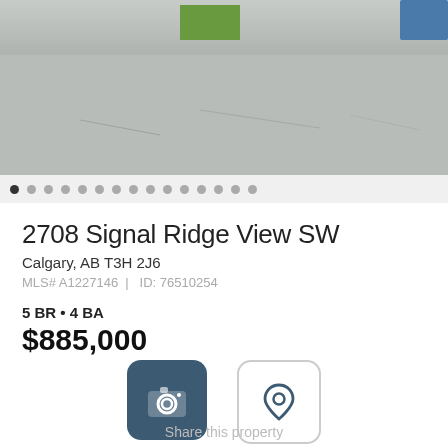[Figure (photo): Aerial/street-level photo of a residential property showing road, sidewalk, and a strip of grass]
2708 Signal Ridge View SW
Calgary, AB T3H 2J6
MLS# A1227146  |  ID: 76510254
5 BR • 4 BA
$885,000
[Figure (other): Photos button with camera icon (filled blue-grey rounded square)]
Photos
[Figure (other): Map button with location pin icon (outline rounded square)]
map
Share this property